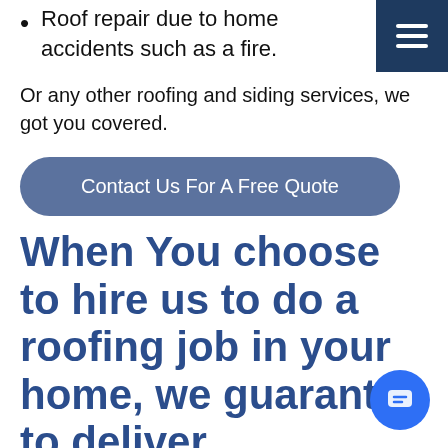Roof repair due to home accidents such as a fire.
Or any other roofing and siding services, we got you covered.
Contact Us For A Free Quote
When You choose to hire us to do a roofing job in your home, we guarantee to deliver exceptionally.